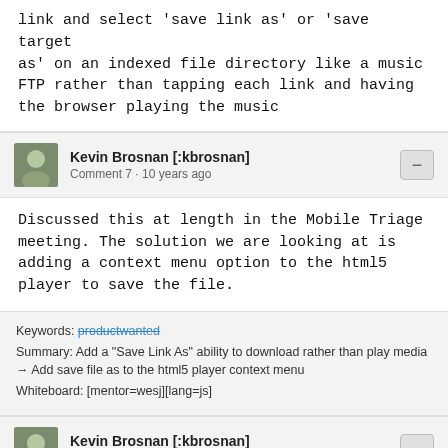link and select 'save link as' or 'save target as' on an indexed file directory like a music FTP rather than tapping each link and having the browser playing the music
Kevin Brosnan [:kbrosnan]
Comment 7 · 10 years ago
Discussed this at length in the Mobile Triage meeting. The solution we are looking at is adding a context menu option to the html5 player to save the file.
Keywords: productwanted
Summary: Add a "Save Link As" ability to download rather than play media → Add save file as to the html5 player context menu
Whiteboard: [mentor=wesj][lang=js]
Kevin Brosnan [:kbrosnan]
Updated · 10 years ago